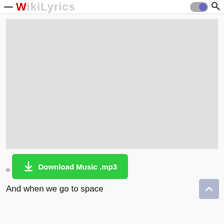WikiLyrics
[Figure (other): Large gray advertisement placeholder rectangle]
Download Music .mp3
And when we go to space